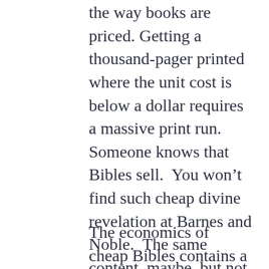the way books are priced. Getting a thousand-pager printed where the unit cost is below a dollar requires a massive print run.  Someone knows that Bibles sell.  You won't find such cheap divine revelation at Barnes and Noble.  The same content, maybe, but not at the same price point.
The economics of cheap Bibles contains a message.  Those who can't afford much can be